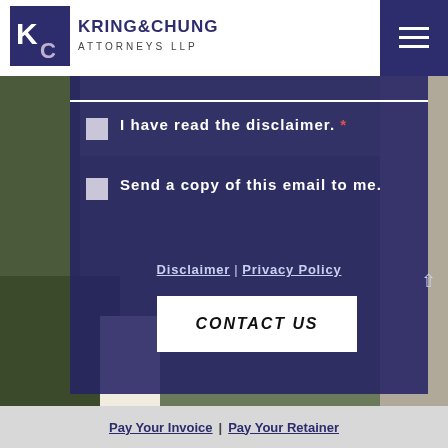[Figure (logo): Kring & Chung Attorneys LLP logo with KC monogram in dark blue square and text]
I have read the disclaimer. *
Send a copy of this email to me.
Disclaimer | Privacy Policy
CONTACT US
Pay Your Invoice | Pay Your Retainer